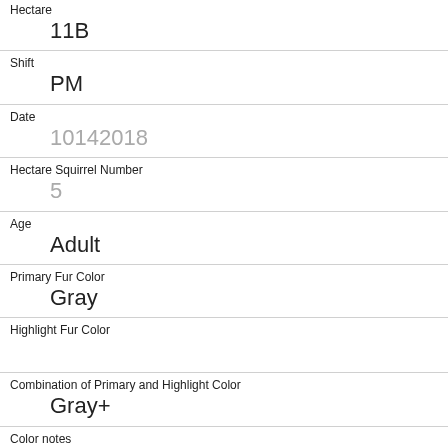Hectare
11B
Shift
PM
Date
10142018
Hectare Squirrel Number
5
Age
Adult
Primary Fur Color
Gray
Highlight Fur Color
Combination of Primary and Highlight Color
Gray+
Color notes
Location
Ground Plane
Above Ground Sighter Measurement